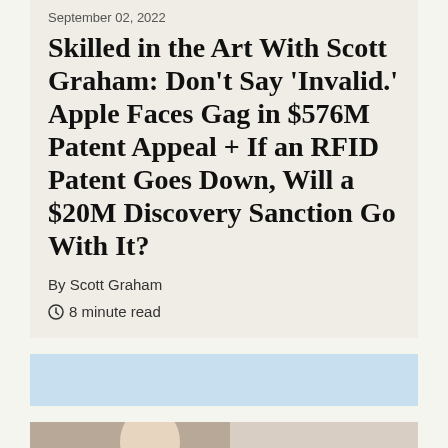September 02, 2022
Skilled in the Art With Scott Graham: Don't Say 'Invalid.' Apple Faces Gag in $576M Patent Appeal + If an RFID Patent Goes Down, Will a $20M Discovery Sanction Go With It?
By Scott Graham
8 minute read
[Figure (other): Light blue advertisement or banner bar]
[Figure (photo): Partial photo of a person, cropped at bottom of page]